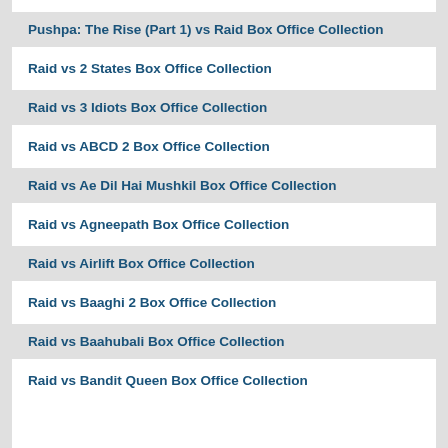Pushpa: The Rise (Part 1) vs Raid Box Office Collection
Raid vs 2 States Box Office Collection
Raid vs 3 Idiots Box Office Collection
Raid vs ABCD 2 Box Office Collection
Raid vs Ae Dil Hai Mushkil Box Office Collection
Raid vs Agneepath Box Office Collection
Raid vs Airlift Box Office Collection
Raid vs Baaghi 2 Box Office Collection
Raid vs Baahubali Box Office Collection
Raid vs Bandit Queen Box Office Collection